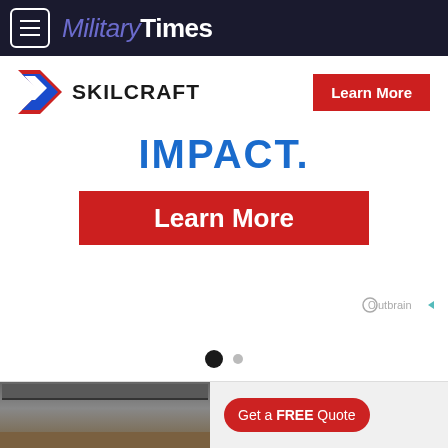MilitaryTimes
[Figure (advertisement): Skilcraft advertisement banner with chevron logo, brand name SKILCRAFT, Learn More red button, IMPACT. text in blue, and large red Learn More button]
[Figure (infographic): Outbrain attribution label with circle logo and play icon]
[Figure (other): Carousel dot indicators - one filled black circle and one smaller grey circle]
[Figure (advertisement): Bottom advertisement strip showing kitchen image on left and Get a FREE Quote red pill button on right]